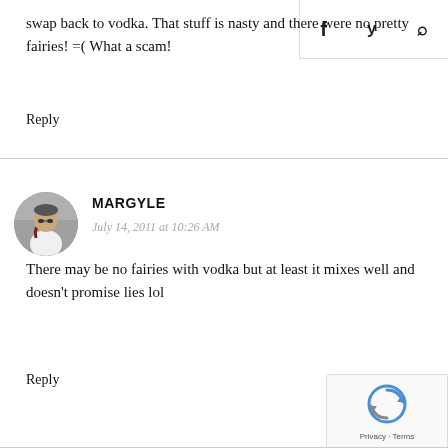f  y  🔍
swap back to vodka. That stuff is nasty and there were no pretty fairies! =( What a scam!
Reply
MARGYLE
July 14, 2011 at 10:26 AM
There may be no fairies with vodka but at least it mixes well and doesn't promise lies lol
Reply